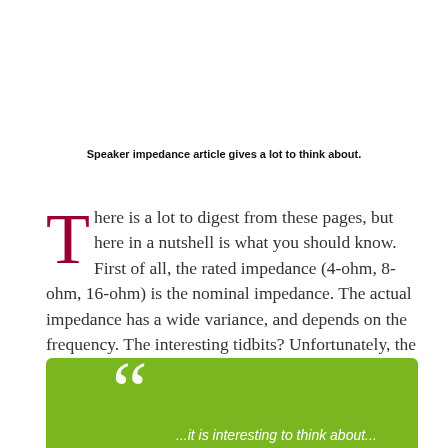Speaker impedance article gives a lot to think about.
There is a lot to digest from these pages, but here in a nutshell is what you should know. First of all, the rated impedance (4-ohm, 8-ohm, 16-ohm) is the nominal impedance. The actual impedance has a wide variance, and depends on the frequency. The interesting tidbits? Unfortunately, the writer does not elaborate any further than the following.
[Figure (other): Green quote box with large white quotation marks and partial quote text at bottom of page]